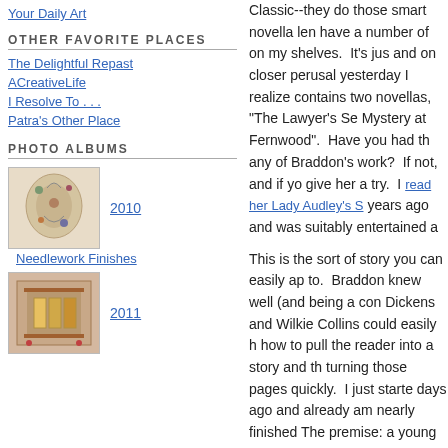Your Daily Art
OTHER FAVORITE PLACES
The Delightful Repast
ACreativeLife
I Resolve To . . .
Patra's Other Place
PHOTO ALBUMS
[Figure (photo): Needlework embroidery piece with birds and floral motifs on cream fabric]
Needlework Finishes
[Figure (photo): A second needlework/cross-stitch piece on pinkish background]
Classic--they do those smart novella len have a number of on my shelves. It's jus and on closer perusal yesterday I realize contains two novellas, "The Lawyer's Se Mystery at Fernwood". Have you had th any of Braddon's work? If not, and if yo give her a try. I read her Lady Audley's S years ago and was suitably entertained a
This is the sort of story you can easily ap to. Braddon knew well (and being a con Dickens and Wilkie Collins could easily h how to pull the reader into a story and th turning those pages quickly. I just starte days ago and already am nearly finished The premise: a young woman is set to in if she agrees to marry the man who was adopted son. Her lawyer/guardian encou several married years later she is unhapp husband's miserly control over her inheri more to the story, of course--she harbors oops best not to reveal too much to you.
Let me give you a proper teaser instead,